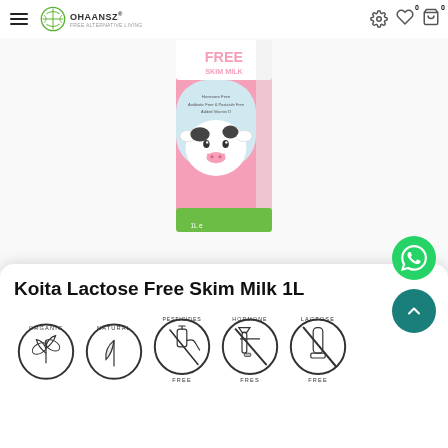OHAANSZ navigation header with hamburger menu, logo, settings, wishlist (0), and cart (0)
[Figure (photo): Koita Lactose Free Skim Milk 1L carton package in pink with cartoon cow illustration, showing 'Hormone Free, Antibiotic Free & Pesticide Free, Added Vitamin D' text on packaging, 1L volume label]
Koita Lactose Free Skim Milk 1L
[Figure (infographic): Row of circular badge icons: Organic (leaf), Natural (leaf/drop), Pesticides Free (spray can crossed), Hormone Free (syringe crossed), Lactose Free (milk bottle crossed), Multivitamins (partially visible)]